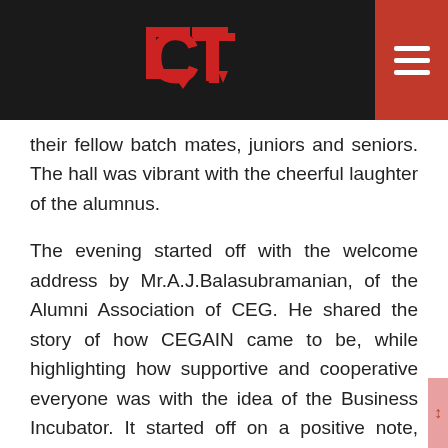[Figure (logo): CT logo in red on dark background header bar with hamburger menu icon on red square on the right]
their fellow batch mates, juniors and seniors. The hall was vibrant with the cheerful laughter of the alumnus.
The evening started off with the welcome address by Mr.A.J.Balasubramanian, of the Alumni Association of CEG. He shared the story of how CEGAIN came to be, while highlighting how supportive and cooperative everyone was with the idea of the Business Incubator. It started off on a positive note, when the first person they approached - the VC - immediately accepted this initiative.
Next, Dr.G.Ravikumar, director of CED addressed the crowd. He was delighted to state the fact that the